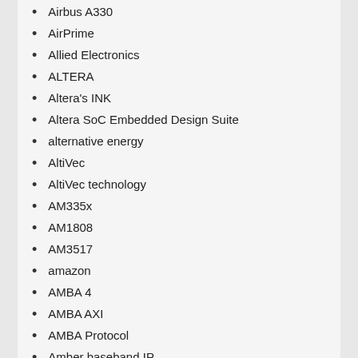Airbus A330
AirPrime
Allied Electronics
ALTERA
Altera's INK
Altera SoC Embedded Design Suite
alternative energy
AltiVec
AltiVec technology
AM335x
AM1808
AM3517
amazon
AMBA 4
AMBA AXI
AMBA Protocol
Amber baseband IP
Ambient Backscatter
AMCC
AMD